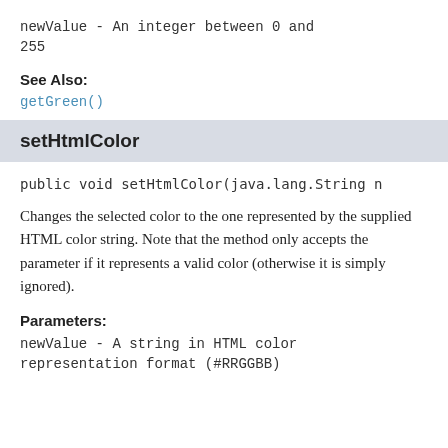newValue - An integer between 0 and 255
See Also:
getGreen()
setHtmlColor
public void setHtmlColor(java.lang.String n
Changes the selected color to the one represented by the supplied HTML color string. Note that the method only accepts the parameter if it represents a valid color (otherwise it is simply ignored).
Parameters:
newValue - A string in HTML color representation format (#RRGGBB)